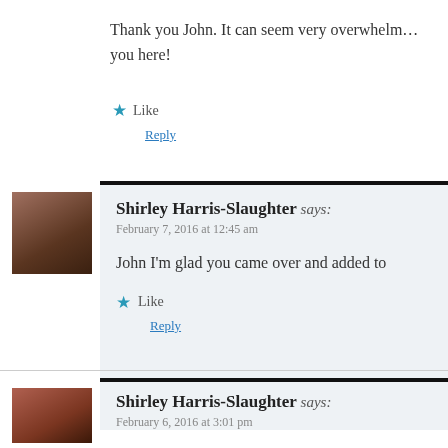Thank you John. It can seem very overwhelm… you here!
★ Like
Reply
[Figure (photo): Avatar photo of Shirley Harris-Slaughter]
Shirley Harris-Slaughter says:
February 7, 2016 at 12:45 am
John I'm glad you came over and added to
★ Like
Reply
[Figure (photo): Avatar photo of Shirley Harris-Slaughter]
Shirley Harris-Slaughter says:
February 6, 2016 at 3:01 pm